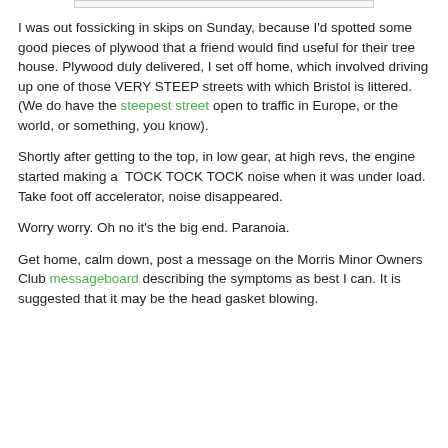I was out fossicking in skips on Sunday, because I'd spotted some good pieces of plywood that a friend would find useful for their tree house. Plywood duly delivered, I set off home, which involved driving up one of those VERY STEEP streets with which Bristol is littered. (We do have the steepest street open to traffic in Europe, or the world, or something, you know).
Shortly after getting to the top, in low gear, at high revs, the engine started making a  TOCK TOCK TOCK noise when it was under load. Take foot off accelerator, noise disappeared.
Worry worry. Oh no it's the big end. Paranoia.
Get home, calm down, post a message on the Morris Minor Owners Club messageboard describing the symptoms as best I can. It is suggested that it may be the head gasket blowing.